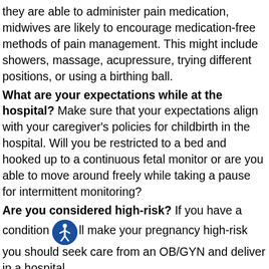they are able to administer pain medication, midwives are likely to encourage medication-free methods of pain management. This might include showers, massage, acupressure, trying different positions, or using a birthing ball.
What are your expectations while at the hospital? Make sure that your expectations align with your caregiver's policies for childbirth in the hospital. Will you be restricted to a bed and hooked up to a continuous fetal monitor or are you able to move around freely while taking a pause for intermittent monitoring?
Are you considered high-risk? If you have a condition that will make your pregnancy high-risk you should seek care from an OB/GYN and deliver in a hospital